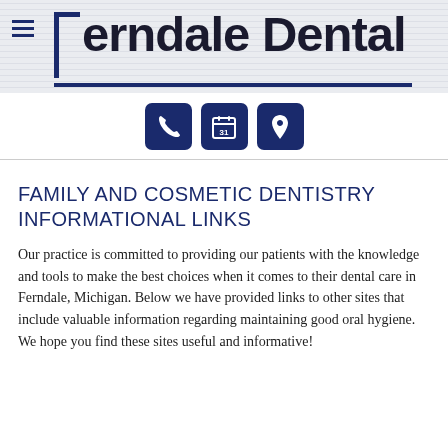[Figure (logo): Ferndale Dental logo with bracket graphic, hamburger menu icon, and decorative underline on striped background]
[Figure (infographic): Three dark navy icon buttons: phone, calendar (31), and map pin/location]
FAMILY AND COSMETIC DENTISTRY INFORMATIONAL LINKS
Our practice is committed to providing our patients with the knowledge and tools to make the best choices when it comes to their dental care in Ferndale, Michigan. Below we have provided links to other sites that include valuable information regarding maintaining good oral hygiene. We hope you find these sites useful and informative!